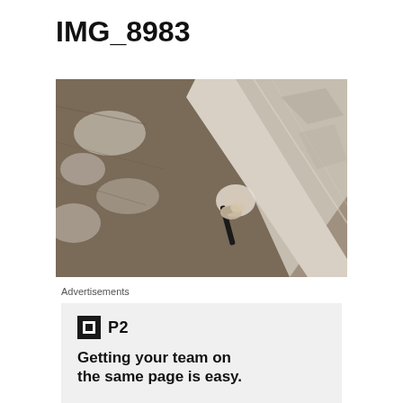IMG_8983
[Figure (photo): Close-up photograph of weathered wooden boards meeting at a corner, with peeling white paint revealing brown wood underneath. A dark nail or screw is visible at the junction point where the boards meet, with some debris or damaged material around it.]
Advertisements
[Figure (logo): P2 logo: black square with white border icon followed by 'P2' text]
Getting your team on the same page is easy.